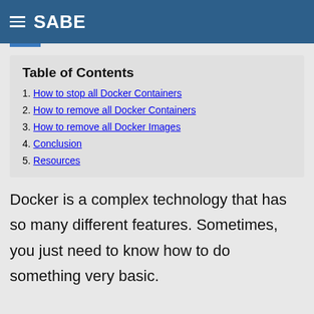SABE
Table of Contents
1. How to stop all Docker Containers
2. How to remove all Docker Containers
3. How to remove all Docker Images
4. Conclusion
5. Resources
Docker is a complex technology that has so many different features. Sometimes, you just need to know how to do something very basic.